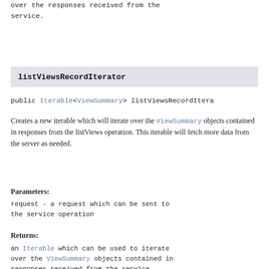over the responses received from the service.
listViewsRecordIterator
public Iterable<ViewSummary> listViewsRecordItera
Creates a new iterable which will iterate over the ViewSummary objects contained in responses from the listViews operation. This iterable will fetch more data from the server as needed.
Parameters:
request - a request which can be sent to the service operation
Returns:
an Iterable which can be used to iterate over the ViewSummary objects contained in responses received from the service.
listZoneTransferServersResponseIterator